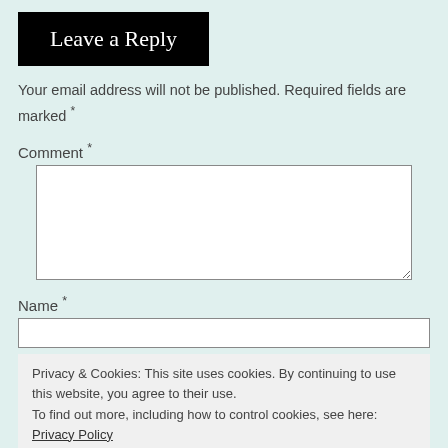Leave a Reply
Your email address will not be published. Required fields are marked *
Comment *
Name *
Privacy & Cookies: This site uses cookies. By continuing to use this website, you agree to their use.
To find out more, including how to control cookies, see here: Privacy Policy
Close and accept